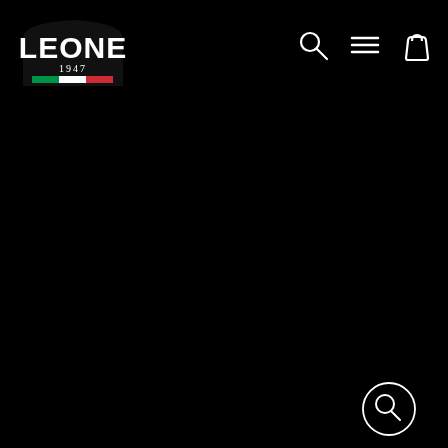[Figure (logo): Leone 1947 brand logo — white bold text 'LEONE' in athletic block letters on black, '1947' below in serif, Italian flag tricolor bar (green, white, red) beneath, enclosed in shield/arch shape]
[Figure (screenshot): Navigation icons: search magnifying glass, hamburger menu (three horizontal lines), shopping bag icon — all in white outline on black background]
[Figure (screenshot): Bottom-right search icon — white circle outline with magnifying glass symbol]